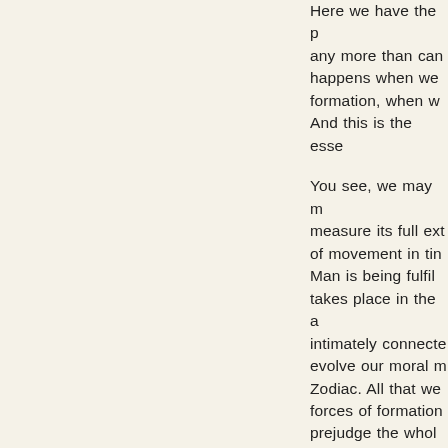Here we have the p any more than can happens when we formation, when w And this is the esse
You see, we may m measure its full ext of movement in tin Man is being fulfil takes place in the a intimately connecte evolve our moral m Zodiac. All that we forces of formation prejudge the whol his moral actions.
I can only lead you